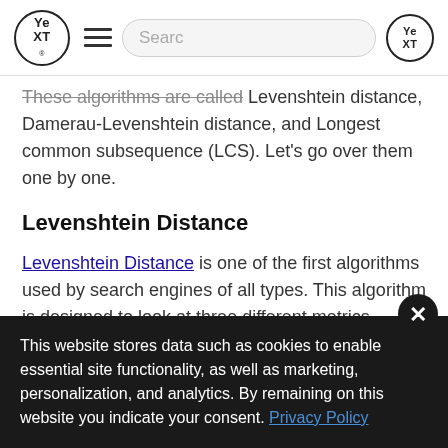Yext [logo] Search bar navigation
These algorithms are called Levenshtein distance, Damerau-Levenshtein distance, and Longest common subsequence (LCS). Let's go over them one by one.
Levenshtein Distance
Levenshtein Distance is one of the first algorithms used by search engines of all types. This algorithm is designed to look at three different metrics, insertion, deletion, and substitution, in order to find the best fit
This website stores data such as cookies to enable essential site functionality, as well as marketing, personalization, and analytics. By remaining on this website you indicate your consent. Privacy Policy